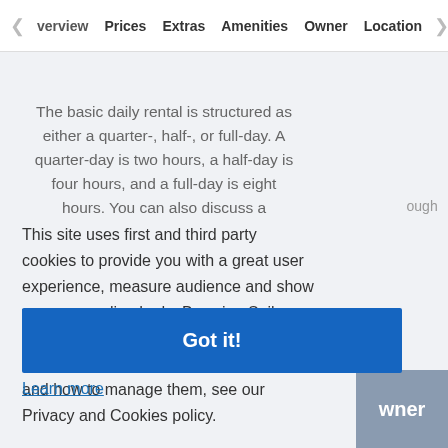Overview  Prices  Extras  Amenities  Owner  Location
The basic daily rental is structured as either a quarter-, half-, or full-day. A quarter-day is two hours, a half-day is four hours, and a full-day is eight hours. You can also discuss a ...
ough
n
erally
u will
can
This site uses first and third party cookies to provide you with a great user experience, measure audience and show you personalised ads. By using Sailo you accept our use of cookies. For more details about our privacy policy, cookies and how to manage them, see our Privacy and Cookies policy.
Learn more
Got it!
wner